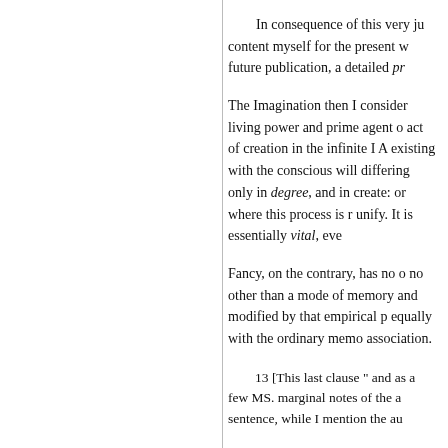In consequence of this very ju content myself for the present w future publication, a detailed pr
The Imagination then I consider living power and prime agent o act of creation in the infinite I A existing with the conscious will differing only in degree, and in create: or where this process is r unify. It is essentially vital, eve
Fancy, on the contrary, has no o no other than a mode of memory and modified by that empirical p equally with the ordinary memo association.
13 [This last clause " and as a few MS. marginal notes of the a sentence, while I mention the au
14 [Compare this distinction t section on the Transcendental S